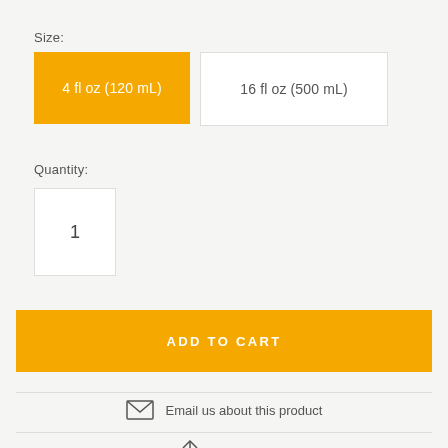Size:
4 fl oz (120 mL)
16 fl oz (500 mL)
Quantity:
1
ADD TO CART
Email us about this product
Share this